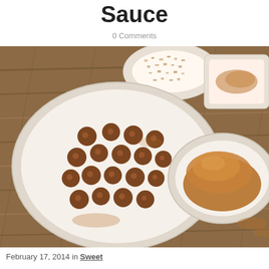Sauce
0 Comments
[Figure (photo): Overhead photo of chocolate truffles dusted with cocoa powder on a white plate, alongside a bowl of cocoa powder and a small plate of chopped nuts, on a wooden surface.]
February 17, 2014 in Sweet